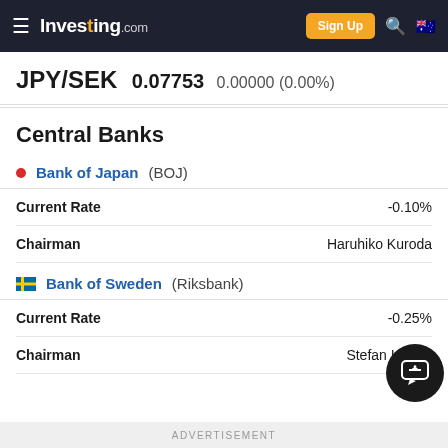Investing.com — Sign Up
JPY/SEK 0.07753 0.00000 (0.00%)
Central Banks
Bank of Japan (BOJ)
|  |  |
| --- | --- |
| Current Rate | -0.10% |
| Chairman | Haruhiko Kuroda |
Bank of Sweden (Riksbank)
|  |  |
| --- | --- |
| Current Rate | -0.25% |
| Chairman | Stefan Ingves |
ADVERTISEMENT
JPY/SEK Discussions